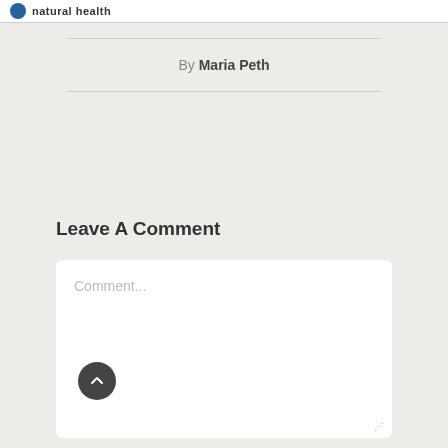natural health
By Maria Peth
Leave A Comment
Comment...